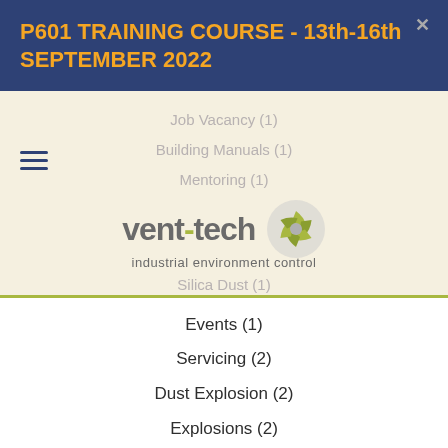P601 TRAINING COURSE - 13th-16th SEPTEMBER 2022
Job Vacancy (1)
Building Manuals (1)
Mentoring (1)
[Figure (logo): Vent-tech logo with spinning fan graphic and text 'industrial environment control']
Silica Dust (1)
Events (1)
Servicing (2)
Dust Explosion (2)
Explosions (2)
Paint and Solvent Fumes (2)